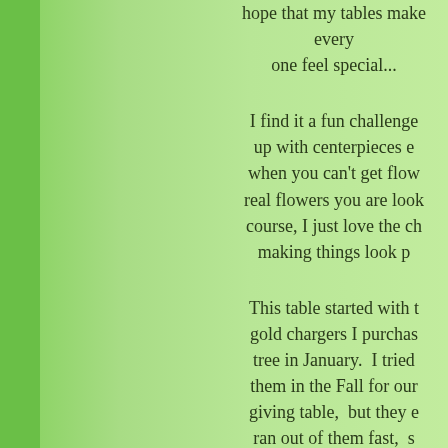hope that my tables make every one feel special...
I find it a fun challenge to come up with centerpieces even when you can't get flowers or real flowers you are looking for. Of course, I just love the challenge of making things look pretty!
This table started with the beautiful gold chargers I purchased from the tree in January. I tried to use them in the Fall for our Thanksgiving table, but they ended up selling, ran out of them fast, so when I saw they were back